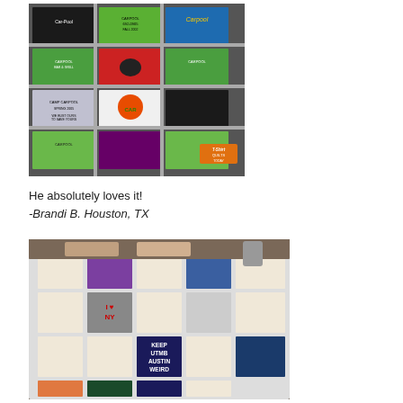[Figure (photo): A T-shirt quilt made from colorful Carpool-branded t-shirts arranged in a grid pattern, with various colors including green, red, blue, black, and white squares. A small orange T-Shirt Quilts Today logo badge is visible in the lower right corner.]
He absolutely loves it!
-Brandi B. Houston, TX
[Figure (photo): A T-shirt quilt displayed on a bed, featuring various t-shirts including an 'I Love NY' shirt and a 'Keep Austin Weird' black shirt, with other colorful patches in white, teal, gray, and navy colors.]